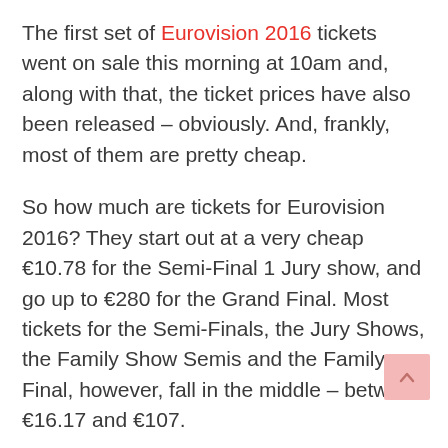The first set of Eurovision 2016 tickets went on sale this morning at 10am and, along with that, the ticket prices have also been released – obviously. And, frankly, most of them are pretty cheap.
So how much are tickets for Eurovision 2016? They start out at a very cheap €10.78 for the Semi-Final 1 Jury show, and go up to €280 for the Grand Final. Most tickets for the Semi-Finals, the Jury Shows, the Family Show Semis and the Family Final, however, fall in the middle – between €16.17 and €107.
Great prices, particularly if you are at one of the Broadcast Shows.